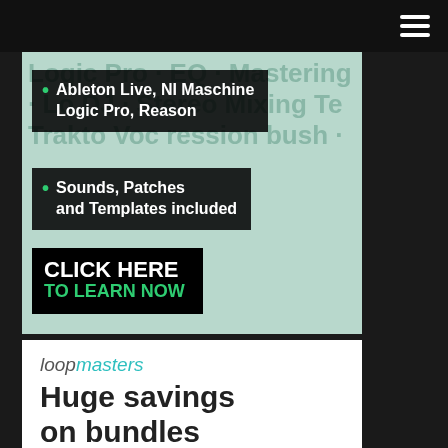Navigation menu bar with hamburger icon
[Figure (illustration): Advertisement banner for music production courses. Light teal/mint background with overlaid music software/technique keywords. Two bullet points in dark boxes: '• Ableton Live, NI Maschine Logic Pro, Reason' and '• Sounds, Patches and Templates included'. Black button with 'CLICK HERE TO LEARN NOW' text.]
Ableton Live, NI Maschine Logic Pro, Reason
Sounds, Patches and Templates included
CLICK HERE TO LEARN NOW
[Figure (logo): Loopmasters logo — 'loop' in dark grey italic, 'masters' in teal italic]
Huge savings on bundles